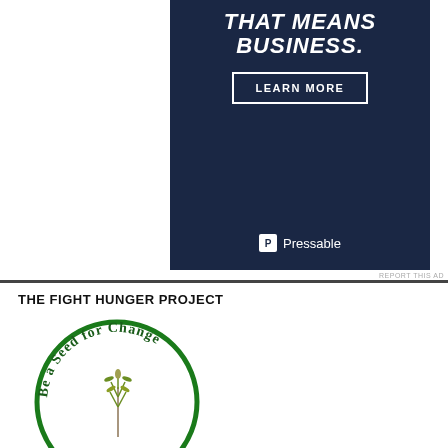[Figure (infographic): Dark navy blue advertisement banner for Pressable hosting. Shows text 'THAT MEANS BUSINESS.' in bold italic white, a 'LEARN MORE' button with white border, and the Pressable logo at the bottom.]
REPORT THIS AD
THE FIGHT HUNGER PROJECT
[Figure (logo): Circular logo with green border and green text curved along the top reading 'Be a Seed for Change'. Inside the circle is an image of a plant/wheat seedling. The bottom portion of the circle is cut off.]